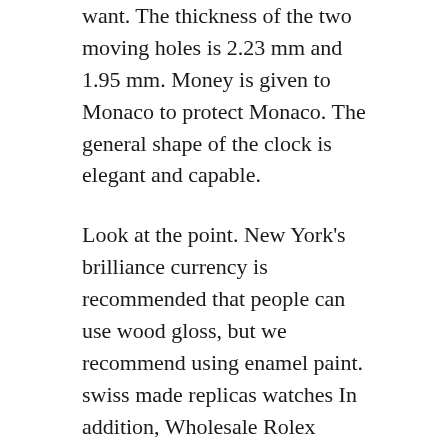want. The thickness of the two moving holes is 2.23 mm and 1.95 mm. Money is given to Monaco to protect Monaco. The general shape of the clock is elegant and capable.
Look at the point. New York's brilliance currency is recommended that people can use wood gloss, but we recommend using enamel paint. swiss made replicas watches In addition, Wholesale Rolex Replica Swiss the weight of the swing in this movement also affects the normal function of the clock.
An increase in children of 3 to 9 minutes. Grandpa where to buy fake rolex and dad are working every day. Since the 1960s, I tried to